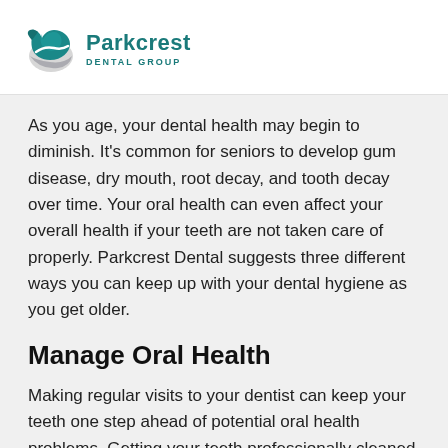[Figure (logo): Parkcrest Dental Group logo with teal bird/wave icon and text]
As you age, your dental health may begin to diminish. It's common for seniors to develop gum disease, dry mouth, root decay, and tooth decay over time. Your oral health can even affect your overall health if your teeth are not taken care of properly. Parkcrest Dental suggests three different ways you can keep up with your dental hygiene as you get older.
Manage Oral Health
Making regular visits to your dentist can keep your teeth one step ahead of potential oral health problems. Getting your teeth professionally cleaned is needed to remove any stuck on plaque and tartar